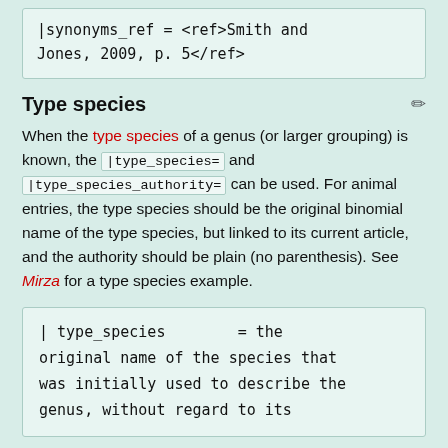[Figure (screenshot): Code block showing: |synonyms_ref = <ref>Smith and Jones, 2009, p. 5</ref>]
Type species
When the type species of a genus (or larger grouping) is known, the |type_species= and |type_species_authority= can be used. For animal entries, the type species should be the original binomial name of the type species, but linked to its current article, and the authority should be plain (no parenthesis). See Mirza for a type species example.
[Figure (screenshot): Code block showing: | type_species = the original name of the species that was initially used to describe the genus, without regard to its]